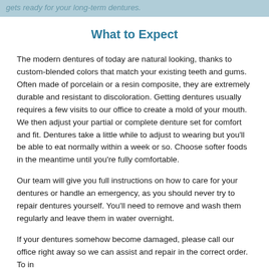gets ready for your long-term dentures.
What to Expect
The modern dentures of today are natural looking, thanks to custom-blended colors that match your existing teeth and gums. Often made of porcelain or a resin composite, they are extremely durable and resistant to discoloration. Getting dentures usually requires a few visits to our office to create a mold of your mouth. We then adjust your partial or complete denture set for comfort and fit. Dentures take a little while to adjust to wearing but you'll be able to eat normally within a week or so. Choose softer foods in the meantime until you're fully comfortable.
Our team will give you full instructions on how to care for your dentures or handle an emergency, as you should never try to repair dentures yourself. You'll need to remove and wash them regularly and leave them in water overnight.
If your dentures somehow become damaged, please call our office right away so we can assist and repair in the correct order. To in...